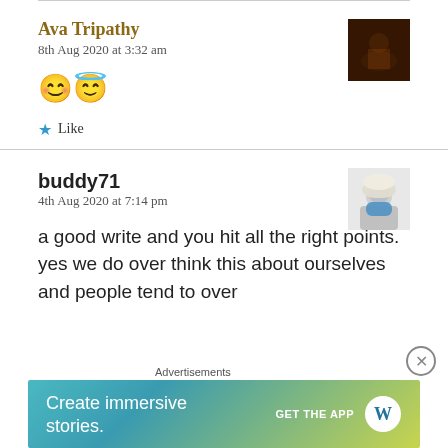Ava Tripathy
8th Aug 2020 at 3:32 am
[Figure (photo): Avatar photo of Ava Tripathy - dark image with orange/red tones]
😊😇
★ Like
buddy71
4th Aug 2020 at 7:14 pm
[Figure (photo): Avatar photo of buddy71 - person wearing white hat and blue mask]
a good write and you hit all the right points. yes we do over think this about ourselves and people tend to over
Advertisements
[Figure (screenshot): WordPress advertisement banner - Create immersive stories. GET THE APP with WordPress logo]